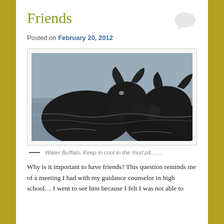Friends
Posted on February 20, 2012
[Figure (photo): Two water buffalo swimming in a muddy brown water pit, facing each other. Their wet black bodies and horns are visible above the water surface.]
— Water Buffalo, Keep in cool in the mud pit.......
Why is it important to have friends? This question reminds me of a meeting I had with my guidance counselor in high school… I went to see him because I felt I was not able to